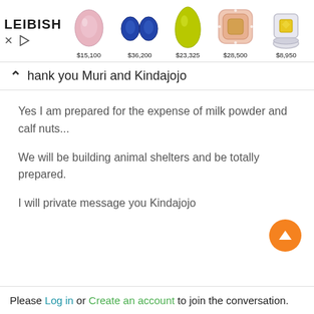[Figure (infographic): LEIBISH jewelry advertisement banner showing 5 gemstone/jewelry items with prices: pink oval gemstone $15,100; pair of blue oval sapphires $36,200; yellow-green pear shaped gemstone $23,325; pink halo ring with yellow center $28,500; white gold ring with yellow diamond $8,950. Controls: X and play triangle icons.]
Thank you Muri and Kindajojo
Yes I am prepared for the expense of milk powder and calf nuts...
We will be building animal shelters and be totally prepared.
I will private message you Kindajojo
Please Log in or Create an account to join the conversation.